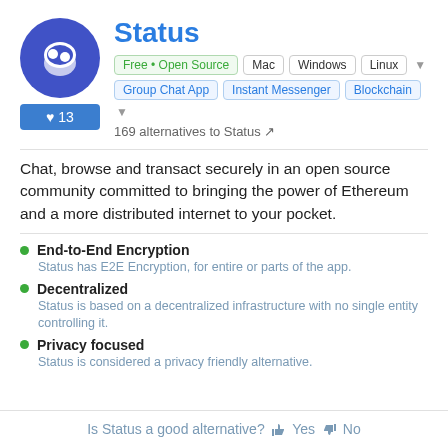Status
Free • Open Source  Mac  Windows  Linux  Group Chat App  Instant Messenger  Blockchain
169 alternatives to Status
Chat, browse and transact securely in an open source community committed to bringing the power of Ethereum and a more distributed internet to your pocket.
End-to-End Encryption
Status has E2E Encryption, for entire or parts of the app.
Decentralized
Status is based on a decentralized infrastructure with no single entity controlling it.
Privacy focused
Status is considered a privacy friendly alternative.
Is Status a good alternative? Yes  No